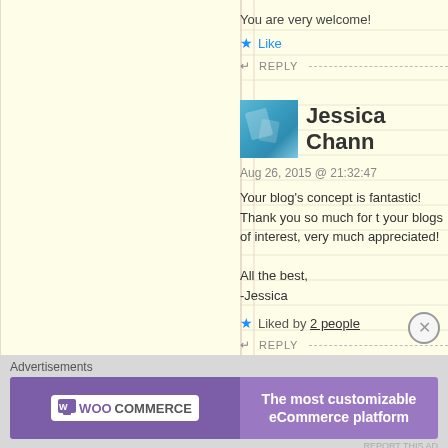You are very welcome!
★ Like
↩ REPLY
[Figure (photo): Blue avatar thumbnail for user Jessica Chann]
Jessica Chann
Aug 26, 2015 @ 21:32:47
Your blog's concept is fantastic! Thank you so much for t your blogs of interest, very much appreciated!

All the best,
-Jessica
★ Liked by 2 people
↩ REPLY
Advertisements
[Figure (illustration): WooCommerce advertisement banner: 'The most customizable eCommerce platform']